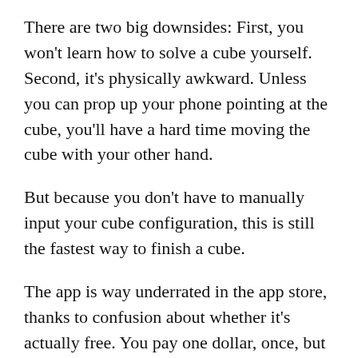There are two big downsides: First, you won't learn how to solve a cube yourself. Second, it's physically awkward. Unless you can prop up your phone pointing at the cube, you'll have a hard time moving the cube with your other hand.
But because you don't have to manually input your cube configuration, this is still the fastest way to finish a cube.
The app is way underrated in the app store, thanks to confusion about whether it's actually free. You pay one dollar, once, but you only pay it when your cube is mostly solved. You never have to pay anything again.
Also worth trying
If you want to get good at solving cubes, you should try out these other cheap or free options too. You'll learn the Rubik's Cube better by seeing it through all these app's perspectives.
Guide for Rubik's Cube: iOS, free, no ads